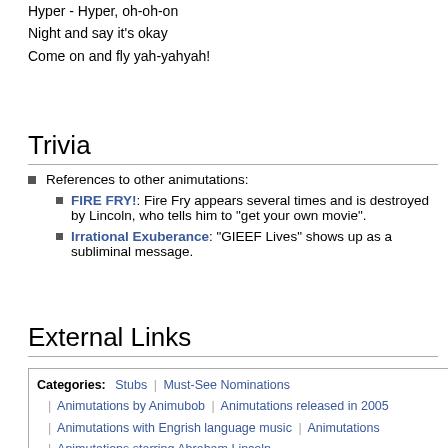Hyper - Hyper, oh-oh-on
Night and say it's okay
Come on and fly yah-yahyah!
Trivia
References to other animutations:
FIRE FRY!: Fire Fry appears several times and is destroyed by Lincoln, who tells him to "get your own movie".
Irrational Exuberance: "GIEEF Lives" shows up as a subliminal message.
External Links
| Categories |
| --- |
| Stubs | Must-See Nominations |
| Animutations by Animubob | Animutations released in 2005 |
| Animutations with Engrish language music | Animutations |
| Animutations starring Abraham Lincoln |
| Animutations starring Zoidberg | Animutations starring Colin Mochrie |
| Animutations starring Jesus H. Christ (character) |
| Animutations starring Alex Chiu | Animutations starring Philip J. Fry |
| Animutations starring Steve Urkel |
| Animutations starring Shigeru Miyamoto |